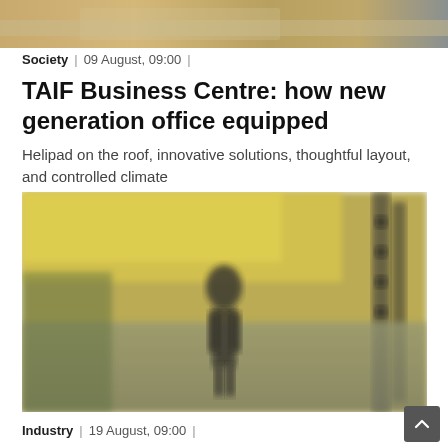[Figure (photo): Partial top banner image, blurred, showing what appears to be a road or landscape scene]
Society | 09 August, 09:00 |
TAIF Business Centre: how new generation office equipped
Helipad on the roof, innovative solutions, thoughtful layout, and controlled climate
[Figure (photo): Blurred interior/exterior photo of a building space with a person standing silhouetted against a yellow-lit ceiling or canopy, with greenery and landscape visible]
Industry | 19 August, 09:00 |